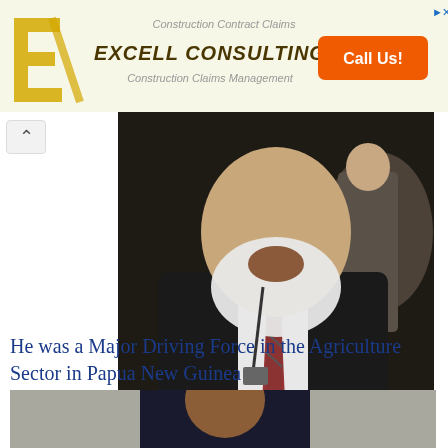[Figure (other): Advertisement banner for Excell Consulting with logo, text 'Construction Contract Claims', 'EXCELL CONSULTING', 'Construction Claims Management', and orange 'Call Us!' button]
[Figure (photo): Photo of an elderly white-bearded man in a dark suit and patterned tie at what appears to be a formal event or conference]
He was a Major Driving Force in the Agriculture Sector in Papua New Guinea
[Figure (photo): Photo of a man in a dark suit seated at a desk or table in what appears to be an office setting]